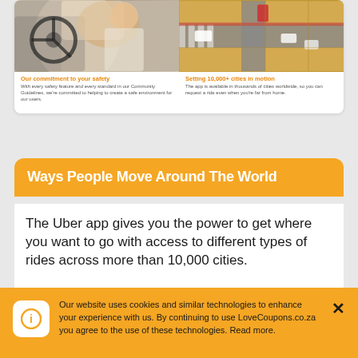[Figure (photo): Photo of person in car (driver/passenger) on left side]
[Figure (photo): Aerial view of intersection with cars on right side]
Our commitment to your safety
With every safety feature and every standard in our Community Guidelines, we're committed to helping to create a safe environment for our users.
Setting 10,000+ cities in motion
The app is available in thousands of cities worldwide, so you can request a ride even when you're far from home.
Ways People Move Around The World
The Uber app gives you the power to get where you want to go with access to different types of rides across more than 10,000 cities.
[Figure (photo): Blurred moving car on road]
[Figure (photo): Person smiling in front of colorful building]
Our website uses cookies and similar technologies to enhance your experience with us. By continuing to use LoveCoupons.co.za you agree to the use of these technologies. Read more.